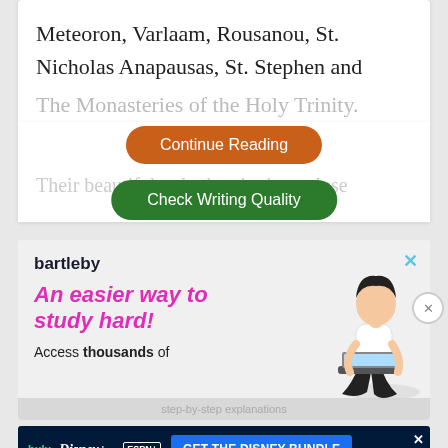Meteoron, Varlaam, Rousanou, St. Nicholas Anapausas, St. Stephen and The Monas[teries of the Holy Tr]inity.
[Figure (screenshot): Orange 'Continue Reading' button overlay on text]
Their beautiful to look at both up close
[Figure (screenshot): Green 'Check Writing Quality' button]
[Figure (infographic): Bartleby advertisement banner with text 'An easier way to study hard!' and 'Access thousands of step-by-step explanations'. Shows illustration of person with laptop. Has close X button.]
[Figure (infographic): Hulu Disney+ ESPN+ Disney Bundle advertisement banner with 'GET THE DISNEY BUNDLE' CTA button. Footer text: Incl. Hulu (ad-supported) or Hulu (No Ads). Access content from each service separately. ©2021 Disney and its related entities]